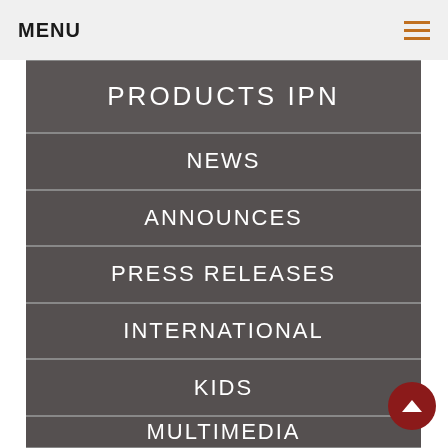MENU
PRODUCTS IPN
NEWS
ANNOUNCES
PRESS RELEASES
INTERNATIONAL
KIDS
MULTIMEDIA